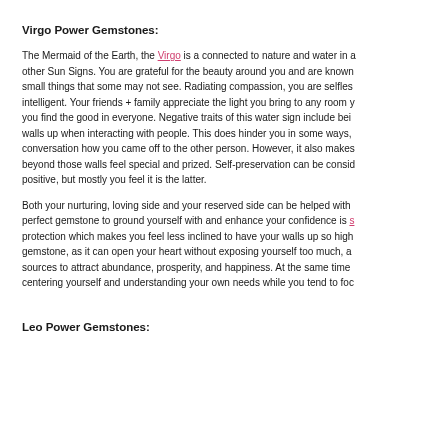Virgo Power Gemstones:
The Mermaid of the Earth, the Virgo is a connected to nature and water in a other Sun Signs. You are grateful for the beauty around you and are known small things that some may not see. Radiating compassion, you are selfles intelligent. Your friends + family appreciate the light you bring to any room y you find the good in everyone. Negative traits of this water sign include bei walls up when interacting with people. This does hinder you in some ways, conversation how you came off to the other person. However, it also makes beyond those walls feel special and prized. Self-preservation can be conside positive, but mostly you feel it is the latter.
Both your nurturing, loving side and your reserved side can be helped with perfect gemstone to ground yourself with and enhance your confidence is protection which makes you feel less inclined to have your walls up so high gemstone, as it can open your heart without exposing yourself too much, a sources to attract abundance, prosperity, and happiness. At the same time centering yourself and understanding your own needs while you tend to foc
Leo Power Gemstones: